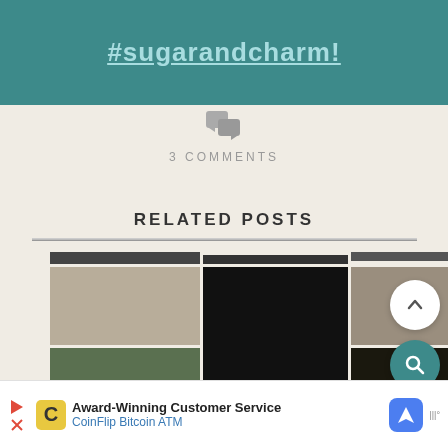#sugarandcharm!
3 COMMENTS
RELATED POSTS
[Figure (photo): Grid of related post thumbnail images showing Halloween/gothic themed decorations and table settings]
Award-Winning Customer Service CoinFlip Bitcoin ATM